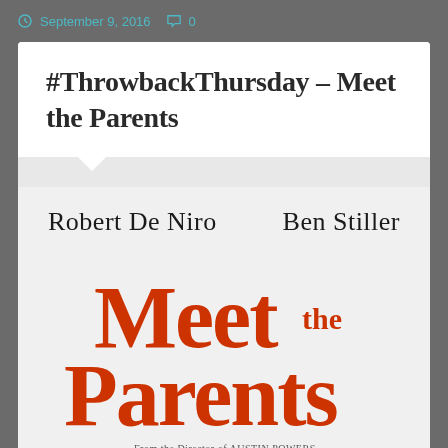September 9, 2016   0
#ThrowbackThursday – Meet the Parents
[Figure (logo): Meet the Parents movie logo/poster graphic. Shows 'Robert De Niro' and 'Ben Stiller' as actor names. Large red stylized text reads 'Meet the Parents' with 'the' in smaller size. Tagline reads 'From the Director of AUSTIN POWERS'.]